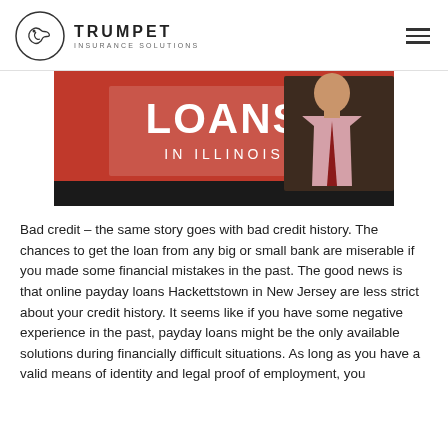TRUMPET INSURANCE SOLUTIONS
[Figure (photo): Photo showing a person in a suit with text 'LOANS IN ILLINOIS' on a red background]
Bad credit – the same story goes with bad credit history. The chances to get the loan from any big or small bank are miserable if you made some financial mistakes in the past. The good news is that online payday loans Hackettstown in New Jersey are less strict about your credit history. It seems like if you have some negative experience in the past, payday loans might be the only available solutions during financially difficult situations. As long as you have a valid means of identity and legal proof of employment, you